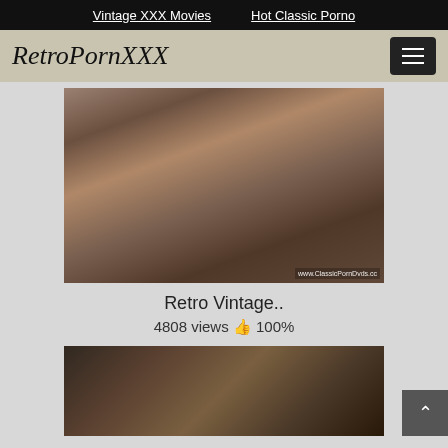Vintage XXX Movies  Hot Classic Porno
RetroPornXXX
[Figure (photo): Video thumbnail showing retro adult film scene, with watermark www.ClassicPornDvds.cc]
Retro Vintage..
4808 views  👍 100%
[Figure (photo): Second video thumbnail showing a person near a lamp in a dark indoor scene]